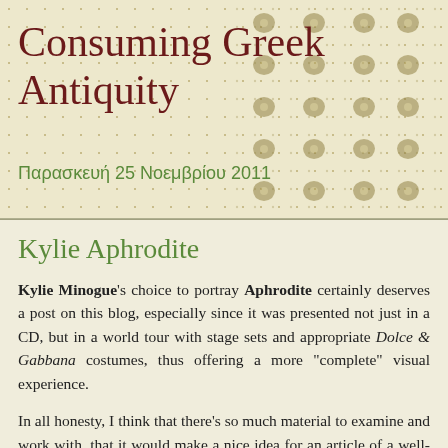Consuming Greek Antiquity
Παρασκευή 25 Νοεμβρίου 2011
Kylie Aphrodite
Kylie Minogue's choice to portray Aphrodite certainly deserves a post on this blog, especially since it was presented not just in a CD, but in a world tour with stage sets and appropriate Dolce & Gabbana costumes, thus offering a more "complete" visual experience.
In all honesty, I think that there's so much material to examine and work with, that it would make a nice idea for an article of a well-documented case of consuming Greek mythology & iconography.
The CD includes two songs, readily identifiable as having being inspired by the central mythological theme, i.e. "Cupid Boy"